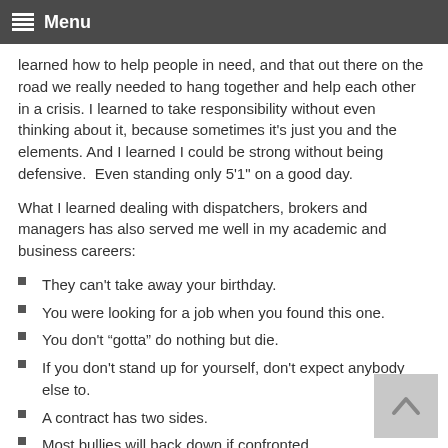Menu
learned how to help people in need, and that out there on the road we really needed to hang together and help each other in a crisis. I learned to take responsibility without even thinking about it, because sometimes it's just you and the elements. And I learned I could be strong without being defensive.  Even standing only 5'1" on a good day.
What I learned dealing with dispatchers, brokers and managers has also served me well in my academic and business careers:
They can't take away your birthday.
You were looking for a job when you found this one.
You don't “gotta” do nothing but die.
If you don't stand up for yourself, don't expect anybody else to.
A contract has two sides.
Most bullies will back down if confronted.
If you don't see yourself as weak and vulnerable,